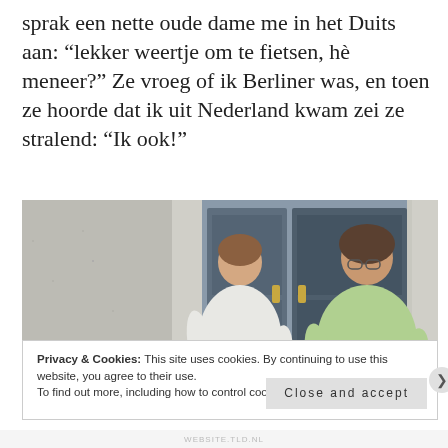sprak een nette oude dame me in het Duits aan: “lekker weertje om te fietsen, hè meneer?” Ze vroeg of ik Berliner was, en toen ze hoorde dat ik uit Nederland kwam zei ze stralend: “Ik ook!”
[Figure (photo): Two elderly women standing in front of a dark grey door, one wearing white and one wearing a light green shirt.]
Privacy & Cookies: This site uses cookies. By continuing to use this website, you agree to their use.
To find out more, including how to control cookies, see here: Cookie Policy
Close and accept
WEBSITE.TLD.NL